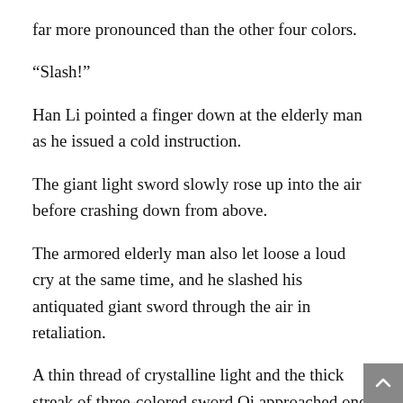far more pronounced than the other four colors.
“Slash!”
Han Li pointed a finger down at the elderly man as he issued a cold instruction.
The giant light sword slowly rose up into the air before crashing down from above.
The armored elderly man also let loose a loud cry at the same time, and he slashed his antiquated giant sword through the air in retaliation.
A thin thread of crystalline light and the thick streak of three-colored sword Qi approached one another amid an earsplitting screech, but everything abruptly fell silent in